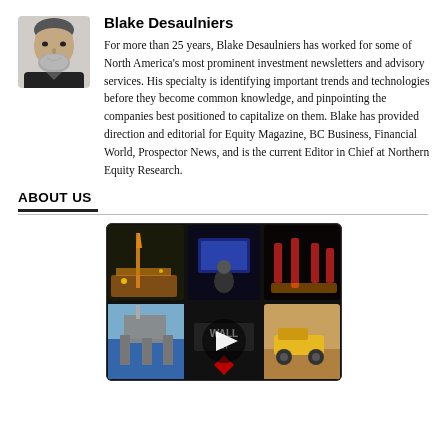[Figure (photo): Headshot photo of Blake Desaulniers, a man with grey beard and dark jacket]
Blake Desaulniers
For more than 25 years, Blake Desaulniers has worked for some of North America's most prominent investment newsletters and advisory services. His specialty is identifying important trends and technologies before they become common knowledge, and pinpointing the companies best positioned to capitalize on them. Blake has provided direction and editorial for Equity Magazine, BC Business, Financial World, Prospector News, and is the current Editor in Chief at Northern Equity Research.
ABOUT US
[Figure (screenshot): Video player thumbnail showing a 2x3 grid of industry images (oil rig, woman at computer, robotic assembly, offshore platform, Wall Street sign, mining vehicle) with a play button overlay in the center]